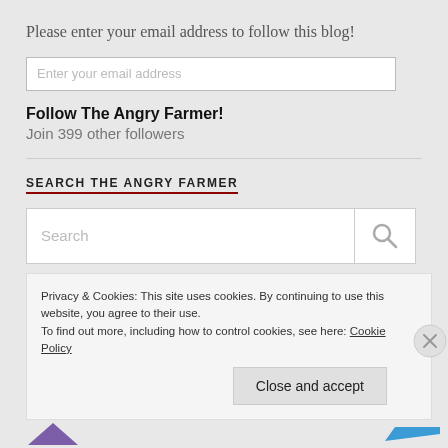Please enter your email address to follow this blog!
Enter your email address
Follow The Angry Farmer!
Join 399 other followers
SEARCH THE ANGRY FARMER
Search
Privacy & Cookies: This site uses cookies. By continuing to use this website, you agree to their use.
To find out more, including how to control cookies, see here: Cookie Policy
Close and accept